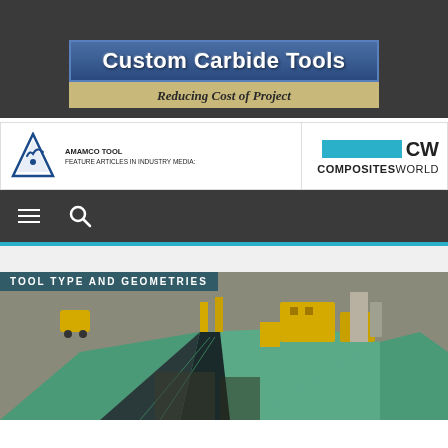[Figure (logo): Custom Carbide Tools logo with blue banner and tan subtitle bar reading 'Reducing Cost of Project']
[Figure (logo): Amamco Tool media banner alongside Composites World (CW) logo]
[Figure (screenshot): Navigation bar with hamburger menu and search icon on dark background]
[Figure (photo): Aerial photo of aircraft manufacturing with teal/green aircraft parts and yellow industrial equipment labeled 'TOOL TYPE AND GEOMETRIES']